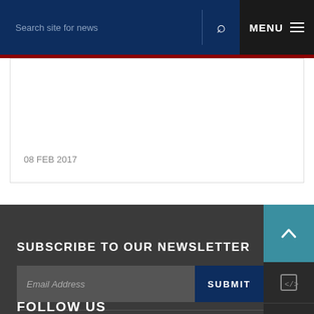Search site for news | MENU
08 FEB 2017
SUBSCRIBE TO OUR NEWSLETTER
Email Address  SUBMIT
FOLLOW US